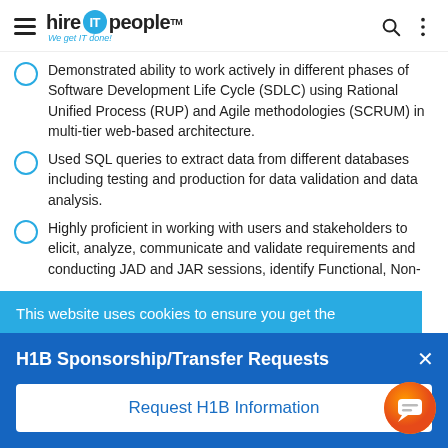hire IT people — We get IT done!
Demonstrated ability to work actively in different phases of Software Development Life Cycle (SDLC) using Rational Unified Process (RUP) and Agile methodologies (SCRUM) in multi-tier web-based architecture.
Used SQL queries to extract data from different databases including testing and production for data validation and data analysis.
Highly proficient in working with users and stakeholders to elicit, analyze, communicate and validate requirements and conducting JAD and JAR sessions, identify Functional, Non- ...ntly
This website uses cookies to ensure you get the
H1B Sponsorship/Transfer Requests
Request H1B Information